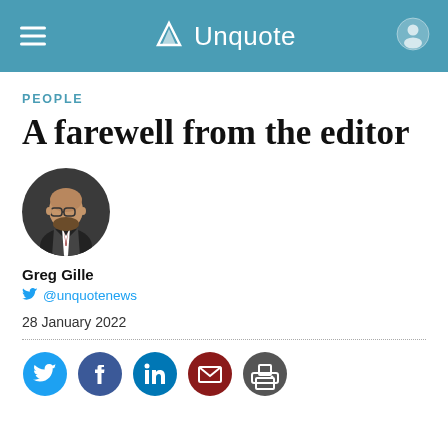Unquote
PEOPLE
A farewell from the editor
[Figure (photo): Circular headshot photo of Greg Gille, a bald man with glasses and a beard wearing a suit]
Greg Gille
@unquotenews
28 January 2022
[Figure (infographic): Row of social media share icons: Twitter (blue), Facebook (dark blue), LinkedIn (blue), Email (dark red), Print (dark gray)]